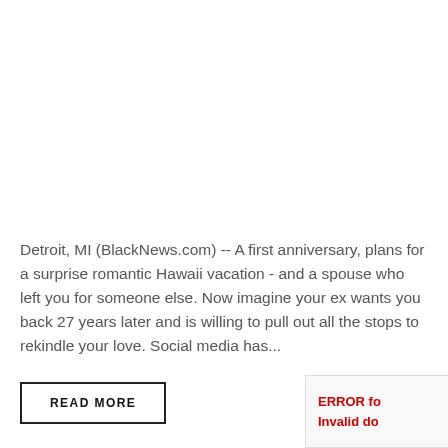Detroit, MI (BlackNews.com) -- A first anniversary, plans for a surprise romantic Hawaii vacation - and a spouse who left you for someone else. Now imagine your ex wants you back 27 years later and is willing to pull out all the stops to rekindle your love. Social media has...
READ MORE
ERROR fo Invalid do